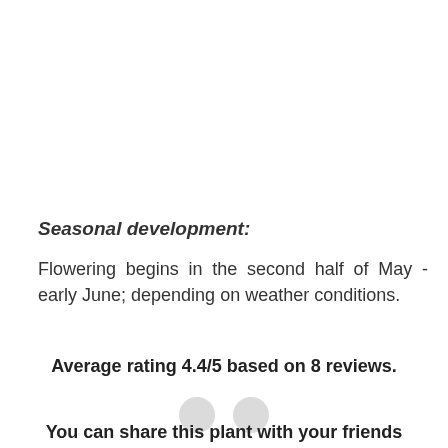Seasonal development:
Flowering begins in the second half of May - early June; depending on weather conditions.
Average rating 4.4/5 based on 8 reviews.
You can share this plant with your friends on Facebook for ...